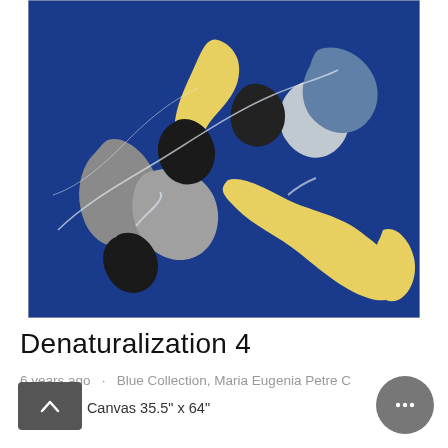[Figure (illustration): Abstract acrylic painting with bold blue background and organic shapes in yellow, gray, black, and light blue suggesting stylized floral or natural forms.]
Denaturalization 4
6 years ago · Blue Collection, Maria Eugenia Petre C
Acrylic on Canvas 35.5" x 64"